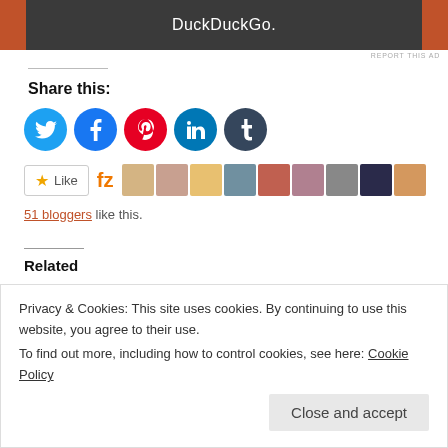[Figure (screenshot): DuckDuckGo advertisement banner with dark background and orange side panels]
REPORT THIS AD
Share this:
[Figure (infographic): Social media share icons: Twitter (blue), Facebook (blue), Pinterest (red), LinkedIn (blue), Tumblr (dark)]
[Figure (infographic): Like button with star icon, Fz logo, and avatar strip of 9 blogger profile photos]
51 bloggers like this.
Related
August Favorites!
September 12, 2016
Paris Hilton Strobing Kit?
March 14, 2016
Privacy & Cookies: This site uses cookies. By continuing to use this website, you agree to their use.
To find out more, including how to control cookies, see here: Cookie Policy
Close and accept